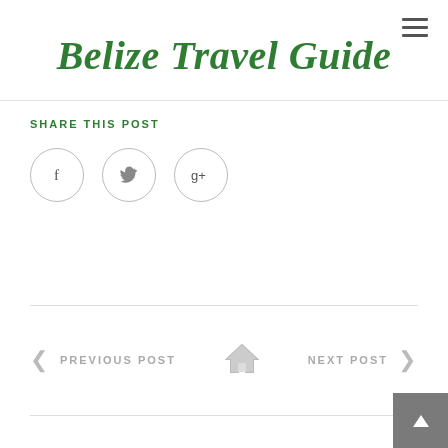Belize Travel Guide
SHARE THIS POST
[Figure (infographic): Three social media share icons in circles: Facebook (f), Twitter (bird), Google+ (g+)]
PREVIOUS POST
NEXT POST